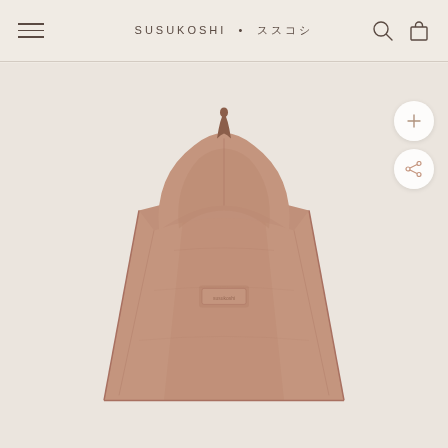SUSUKOSHI • ススコシ
[Figure (photo): A dusty rose/mauve colored hooded children's bath poncho towel with a pointed ear or horn on the hood, photographed flat on a light beige background. The poncho has a structured hood and a small embroidered label detail on the front body.]